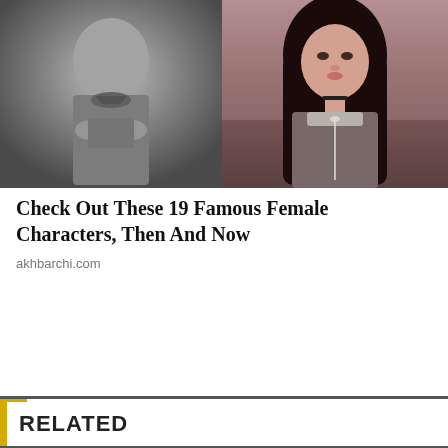[Figure (photo): Two side-by-side images: left is a black and white photo of a person reading/holding something, right is a color photo of a young woman with long dark hair in period costume]
Check Out These 19 Famous Female Characters, Then And Now
akhbarchi.com
RELATED